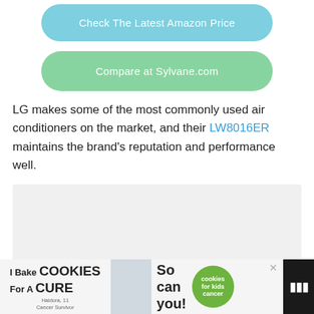[Figure (other): Button: Check The Latest Amazon Price (light blue/teal rounded rectangle)]
[Figure (other): Button: Compare at Sylvane.com (light green rounded rectangle)]
LG makes some of the most commonly used air conditioners on the market, and their LW8016ER maintains the brand's reputation and performance well.
[Figure (other): Gray placeholder image area]
[Figure (other): Advertisement banner at bottom: I Bake COOKIES For A CURE - Haldora, 11 Cancer Survivor - So can you! - cookies for kids cancer logo]